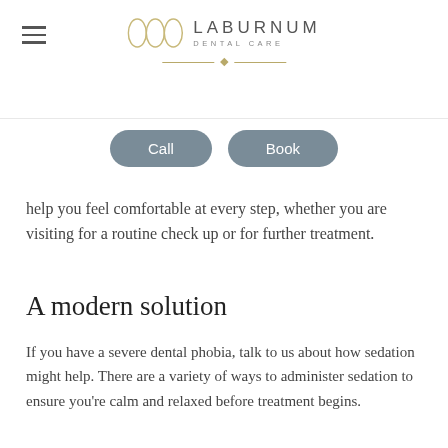Laburnum Dental Care
[Figure (logo): Laburnum Dental Care logo with three circles and decorative divider line]
Call
Book
help you feel comfortable at every step, whether you are visiting for a routine check up or for further treatment.
A modern solution
If you have a severe dental phobia, talk to us about how sedation might help. There are a variety of ways to administer sedation to ensure you’re calm and relaxed before treatment begins.
Helpful techniques